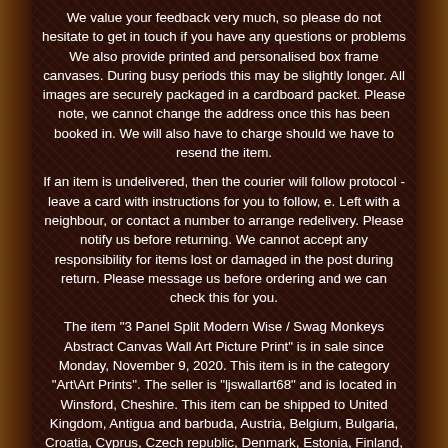We value your feedback very much, so please do not hesitate to get in touch if you have any questions or problems We also provide printed and personalised box frame canvases. During busy periods this may be slightly longer. All images are securely packaged in a cardboard packet. Please note, we cannot change the address once this has been booked in. We will also have to charge should we have to resend the item.
If an item is undelivered, then the courier will follow protocol - leave a card with instructions for you to follow, e. Left with a neighbour, or contact a number to arrange redelivery. Please notify us before returning. We cannot accept any responsibility for items lost or damaged in the post during return. Please message us before ordering and we can check this for you.
The item "3 Panel Split Modern Wise / Swag Monkeys Abstract Canvas Wall Art Picture Print" is in sale since Monday, November 9, 2020. This item is in the category "Art\Art Prints". The seller is "ljswallart68" and is located in Winsford, Cheshire. This item can be shipped to United Kingdom, Antigua and barbuda, Austria, Belgium, Bulgaria, Croatia, Cyprus, Czech republic, Denmark, Estonia, Finland, France, Germany, Greece, Hungary, Ireland, Italy, Latvia, Lithuania,